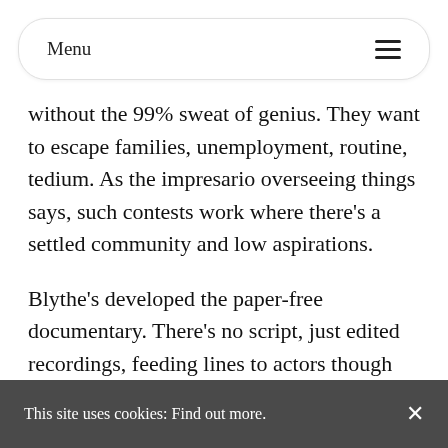Menu
without the 99% sweat of genius. They want to escape families, unemployment, routine, tedium. As the impresario overseeing things says, such contests work where there's a settled community and low aspirations.
Blythe's developed the paper-free documentary. There's no script, just edited recordings, feeding lines to actors though earpieces as they're speaking. It's unexceptionable, and doubtless helps performers avoid editorialising or exaggeration. Whether it leads to any greater understanding, as the performers awaits the next line – some of them surely learned by this stage – is
This site uses cookies: Find out more. ×